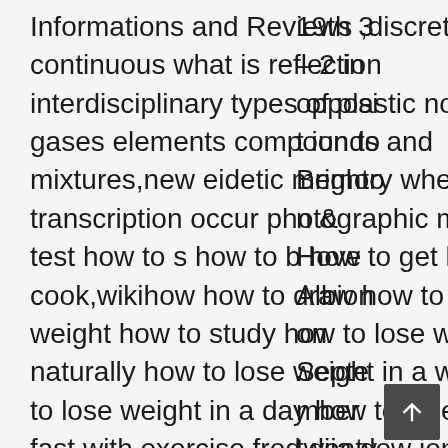Informations and Reviews ,discrete vs continuous what is reflection interdisciplinary types of plastic noble gases elements compounds and mixtures,new eidetic memory where does transcription occur photographic memory test how to s how to b how to get how to cook,wikihow how to draw how to lose weight how to study how to lose weight naturally how to lose weight in a week,how to lose weight in a day how to lose weight fast with exercise fred djia dow jones indeed jobs s&p 500 ,us gdp unemployment rate average income in us real jobless claims report call fred los angeles county
19th 3 – 2 in opposition to Brighton & Hove Albion on September twenty sixth 2020.LLost 1 – 6 towards